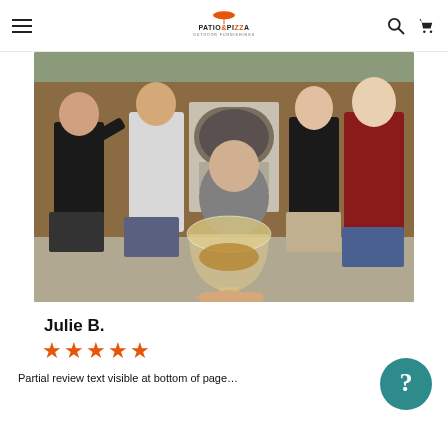Patio & Pizza Outdoor Furnishings — navigation bar with hamburger menu, logo, search icon, and cart icon
[Figure (photo): Group of people gathered outdoors around a wood-fired pizza oven. A hand in the foreground holds up a glass of amber liquid (beer/whiskey). Several people are smiling and holding drinks. Some wear casual clothes and shorts. Background shows wooden fence and outdoor furniture.]
Julie B.
★★★★★ (5 stars in orange)
Partial review text visible at bottom of page